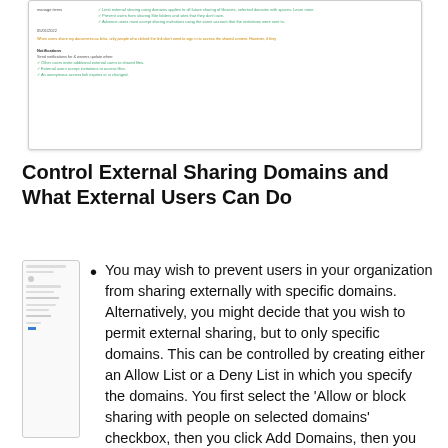[Figure (screenshot): Screenshot of SharePoint/OneDrive sharing settings interface showing domain sharing options, checkboxes, warning text, and notification settings.]
Control External Sharing Domains and What External Users Can Do
[Figure (screenshot): Thumbnail preview of a document page showing sharing settings interface.]
You may wish to prevent users in your organization from sharing externally with specific domains. Alternatively, you might decide that you wish to permit external sharing, but to only specific domains. This can be controlled by creating either an Allow List or a Deny List in which you specify the domains. You first select the 'Allow or block sharing with people on selected domains' checkbox, then you click Add Domains, then you select Allow or Deny from the dropdown list and finally you specify one or more domains (separated by spaces). You can